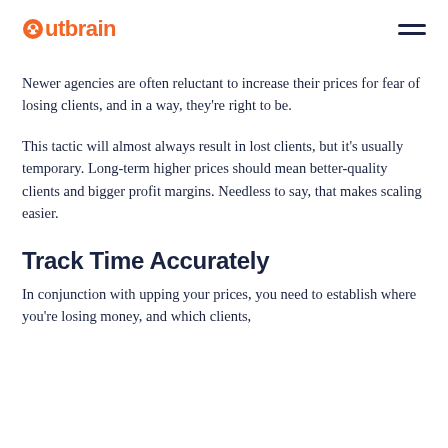Outbrain
Newer agencies are often reluctant to increase their prices for fear of losing clients, and in a way, they're right to be.
This tactic will almost always result in lost clients, but it's usually temporary. Long-term higher prices should mean better-quality clients and bigger profit margins. Needless to say, that makes scaling easier.
Track Time Accurately
In conjunction with upping your prices, you need to establish where you're losing money, and which clients,